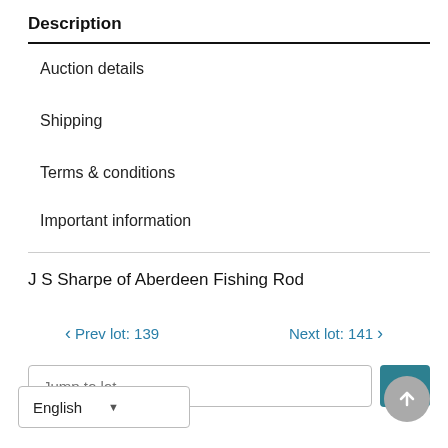Description
Auction details
Shipping
Terms & conditions
Important information
J S Sharpe of Aberdeen Fishing Rod
‹ Prev lot: 139
Next lot: 141 ›
Jump to lot...
English